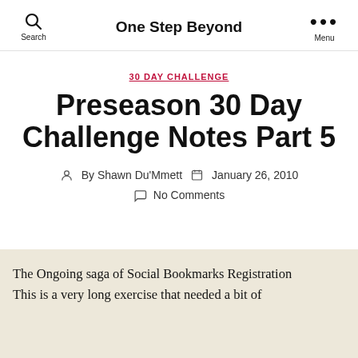One Step Beyond
30 DAY CHALLENGE
Preseason 30 Day Challenge Notes Part 5
By Shawn Du'Mmett   January 26, 2010   No Comments
The Ongoing saga of Social Bookmarks Registration This is a very long exercise that needed a bit of